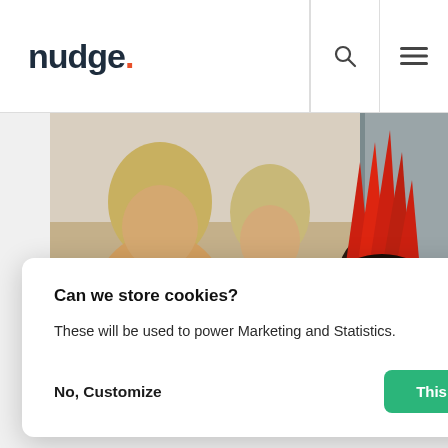nudge.
[Figure (photo): Three people in a kitchen or indoor space; one has a dramatic red spiky mohawk hairstyle and is wearing a red hoodie; the others have blonde/light hair. The image is partially obscured by a cookie consent dialog.]
Can we store cookies?
These will be used to power Marketing and Statistics.
No, Customize
This is okay
This Week in Native Ads
wsletter #319 – Ferraris and wsletters
[Figure (illustration): Toggle switch icon (green, switched on) inside a circular white button area.]